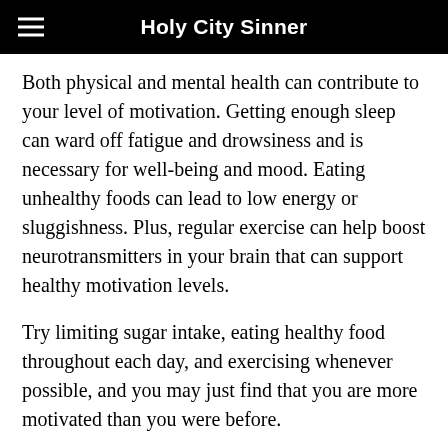Holy City Sinner
Both physical and mental health can contribute to your level of motivation. Getting enough sleep can ward off fatigue and drowsiness and is necessary for well-being and mood. Eating unhealthy foods can lead to low energy or sluggishness. Plus, regular exercise can help boost neurotransmitters in your brain that can support healthy motivation levels.
Try limiting sugar intake, eating healthy food throughout each day, and exercising whenever possible, and you may just find that you are more motivated than you were before.
Boredom
Many people have a daily routine that rarely changes and that can make everything seem mundane. This boredom